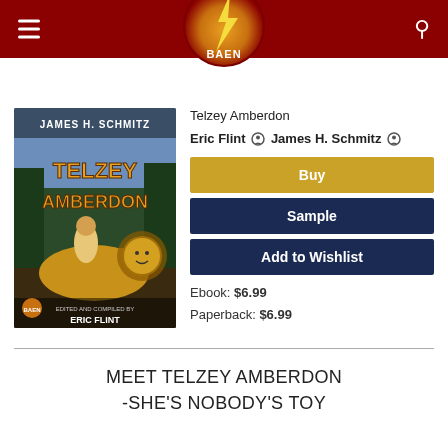BAEN
[Figure (illustration): Book cover for Telzey Amberdon by James H. Schmitz, showing a young woman riding a large lion-like creature in a forest setting. Edited and compiled by Eric Flint. Published by Baen.]
Telzey Amberdon
Eric Flint  James H. Schmitz
Buy
Sample
Add to Wishlist
Ebook: $6.99
Paperback: $6.99
MEET TELZEY AMBERDON -SHE'S NOBODY'S TOY